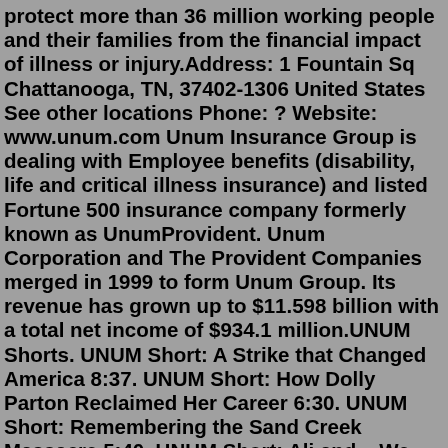protect more than 36 million working people and their families from the financial impact of illness or injury.Address: 1 Fountain Sq Chattanooga, TN, 37402-1306 United States See other locations Phone: ? Website: www.unum.com Unum Insurance Group is dealing with Employee benefits (disability, life and critical illness insurance) and listed Fortune 500 insurance company formerly known as UnumProvident. Unum Corporation and The Provident Companies merged in 1999 to form Unum Group. Its revenue has grown up to $11.598 billion with a total net income of $934.1 million.UNUM Shorts. UNUM Short: A Strike that Changed America 8:37. UNUM Short: How Dolly Parton Reclaimed Her Career 6:30. UNUM Short: Remembering the Sand Creek Massacre 5:40. UNUM Short: Ali and ...We will coordinate services with a neighboring in-network dentist or, when necessary, with an out-of-network dentist. You may also contact us for a replacement dental plan Identification Card or to verify benefit eligibility. Members and dentists may contact Unum